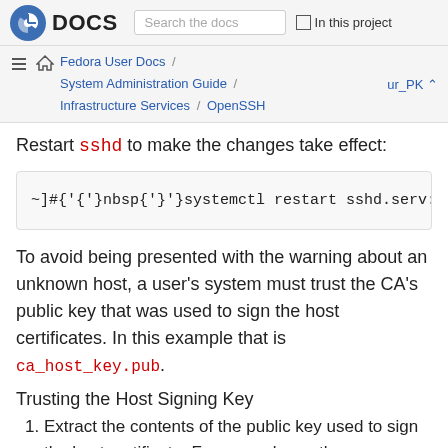Fedora DOCS | Search the docs | In this project
Fedora User Docs / System Administration Guide / Infrastructure Services / OpenSSH | ur_PK
Restart sshd to make the changes take effect:
~]#{nbsp}systemctl restart sshd.serv:
To avoid being presented with the warning about an unknown host, a user's system must trust the CA's public key that was used to sign the host certificates. In this example that is ca_host_key.pub.
Trusting the Host Signing Key
Extract the contents of the public key used to sign the host certificate. For example, on the